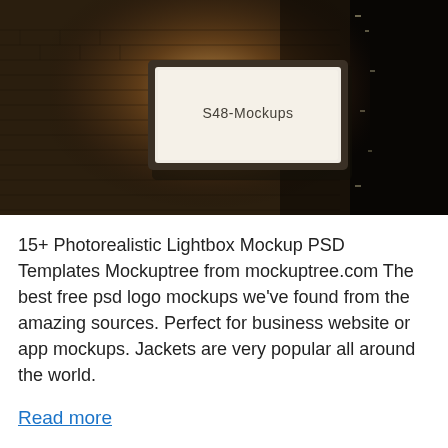[Figure (photo): Night photo of a building exterior brick wall with a rectangular illuminated lightbox sign mounted on the wall reading 'S48-Mockups'. The scene is dark with warm light illuminating the wall around the sign.]
15+ Photorealistic Lightbox Mockup PSD Templates Mockuptree from mockuptree.com The best free psd logo mockups we've found from the amazing sources. Perfect for business website or app mockups. Jackets are very popular all around the world.
Read more